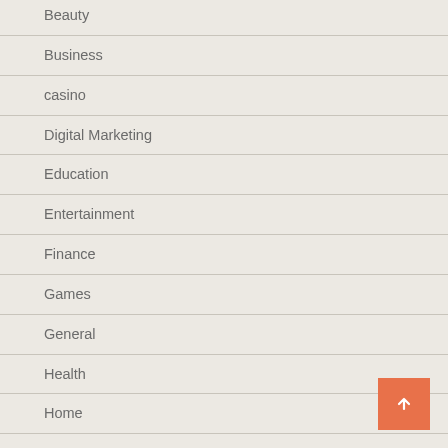Beauty
Business
casino
Digital Marketing
Education
Entertainment
Finance
Games
General
Health
Home
Insurance
Internet Marketing
Law